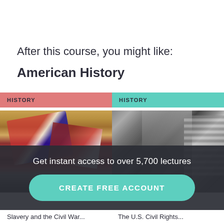After this course, you might like:
American History
[Figure (photo): Course card with pink HISTORY label and Civil War battlefield flags image]
[Figure (photo): Course card with teal HISTORY label and black and white photo of Martin Luther King Jr. at microphone with American flag]
Get instant access to over 5,700 lectures
CREATE FREE ACCOUNT
Slavery and the Civil War...   The U.S. Civil Rights...